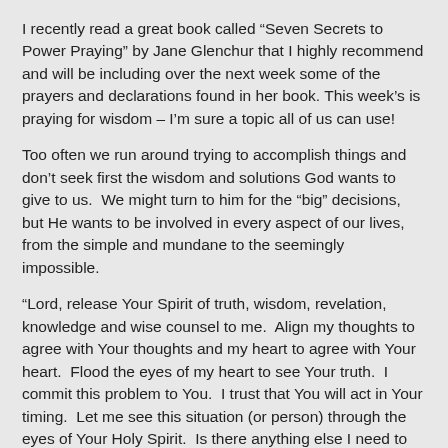I recently read a great book called “Seven Secrets to Power Praying” by Jane Glenchur that I highly recommend and will be including over the next week some of the prayers and declarations found in her book. This week’s is praying for wisdom – I’m sure a topic all of us can use!
Too often we run around trying to accomplish things and don’t seek first the wisdom and solutions God wants to give to us.  We might turn to him for the “big” decisions, but He wants to be involved in every aspect of our lives, from the simple and mundane to the seemingly impossible.
“Lord, release Your Spirit of truth, wisdom, revelation, knowledge and wise counsel to me.  Align my thoughts to agree with Your thoughts and my heart to agree with Your heart.  Flood the eyes of my heart to see Your truth.  I commit this problem to You.  I trust that You will act in Your timing.  Let me see this situation (or person) through the eyes of Your Holy Spirit.  Is there anything else I need to know before making this decision?  Send forth Your light and truth to lead and guide me.”
What problems or challenges are you facing today?  Spend some